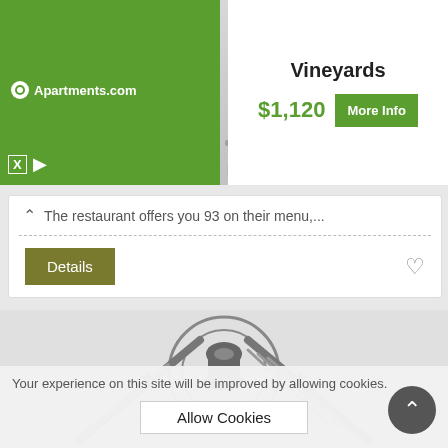[Figure (screenshot): Apartments.com advertisement banner showing Vineyards apartment listing with photo of white closet shelves, price $1,120 and More Info button]
Vineyards
$1,120
More Info
Katy, TX
The restaurant offers you 93 on their menu,...
Details
[Figure (illustration): Restaurant logo illustration with chef hat, fork, knife, stars in grey tones]
Your experience on this site will be improved by allowing cookies.
Allow Cookies